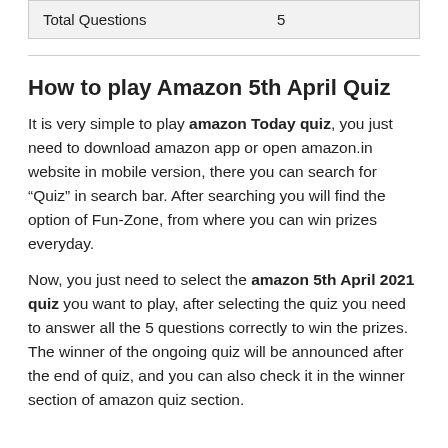| Total Questions | 5 |
How to play Amazon 5th April Quiz
It is very simple to play amazon Today quiz, you just need to download amazon app or open amazon.in website in mobile version, there you can search for “Quiz” in search bar. After searching you will find the option of Fun-Zone, from where you can win prizes everyday.
Now, you just need to select the amazon 5th April 2021 quiz you want to play, after selecting the quiz you need to answer all the 5 questions correctly to win the prizes. The winner of the ongoing quiz will be announced after the end of quiz, and you can also check it in the winner section of amazon quiz section.